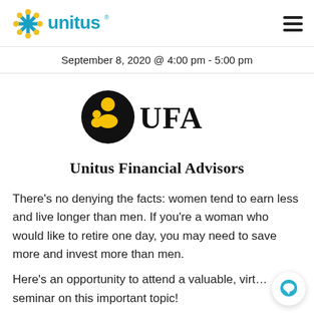unitus
September 8, 2020 @ 4:00 pm - 5:00 pm
[Figure (logo): UFA (Unitus Financial Advisors) logo — circular black icon with stylized family figure in yellow/orange, followed by text UFA in large serif font, and below it Unitus Financial Advisors]
There’s no denying the facts: women tend to earn less and live longer than men. If you’re a woman who would like to retire one day, you may need to save more and invest more than men.
Here’s an opportunity to attend a valuable, virt… seminar on this important topic!